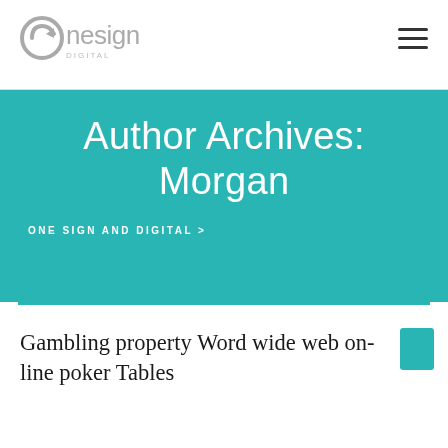[Figure (logo): Onesign Digital logo — circular arrow icon with 'Onesign' in gray text and 'DIGITAL' below]
Author Archives:
Morgan
ONE SIGN AND DIGITAL >
Gambling property Word wide web on-line poker Tables